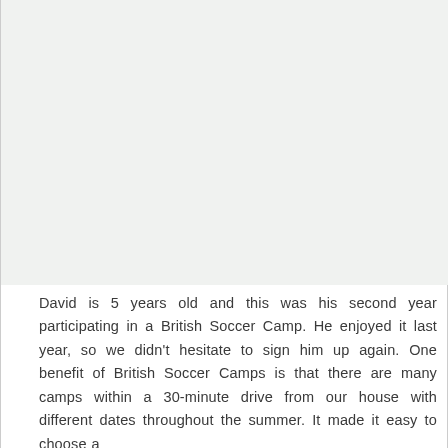[Figure (photo): Large blank/light-colored image area occupying the upper portion of the page]
David is 5 years old and this was his second year participating in a British Soccer Camp. He enjoyed it last year, so we didn't hesitate to sign him up again. One benefit of British Soccer Camps is that there are many camps within a 30-minute drive from our house with different dates throughout the summer. It made it easy to choose a